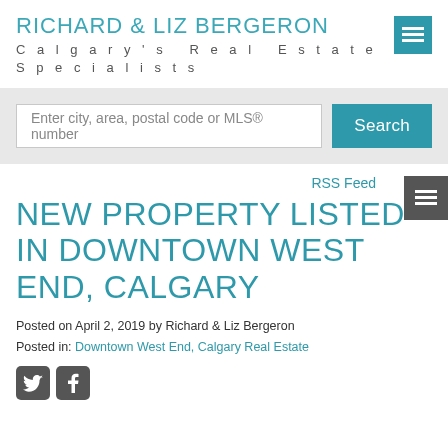RICHARD & LIZ BERGERON — Calgary's Real Estate Specialists
[Figure (screenshot): Search bar with placeholder text 'Enter city, area, postal code or MLS® number' and a teal Search button]
RSS Feed
NEW PROPERTY LISTED IN DOWNTOWN WEST END, CALGARY
Posted on April 2, 2019 by Richard & Liz Bergeron
Posted in: Downtown West End, Calgary Real Estate
[Figure (infographic): Twitter and Facebook social share icons]